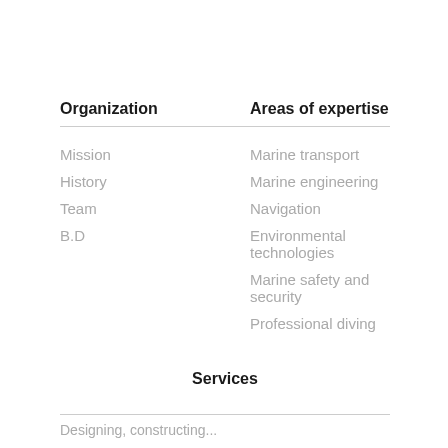| Organization | Areas of expertise |
| --- | --- |
| Mission | Marine transport |
| History | Marine engineering |
| Team | Navigation |
| B.D | Environmental technologies |
|  | Marine safety and security |
|  | Professional diving |
Services
Designing, constructing...